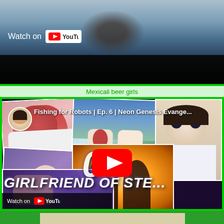[Figure (screenshot): Top portion of a YouTube video showing a person's face/silhouette against a blue-grey background with Watch on YouTube overlay]
Watch on YouTube
Mexicali beer girls
[Figure (screenshot): YouTube video thumbnail for 'Fishing for Robots | Ep. 6 | Neon Genesis Evangelion' showing an anime collage with multiple panels depicting characters, the number 06, a YouTube play button, and text reading GIRLFRIEND OF STEEL at the bottom, with Watch on YouTube overlay]
Fishing for Robots | Ep. 6 | Neon Genesis Evange...
GIRLFRIEND OF STE...